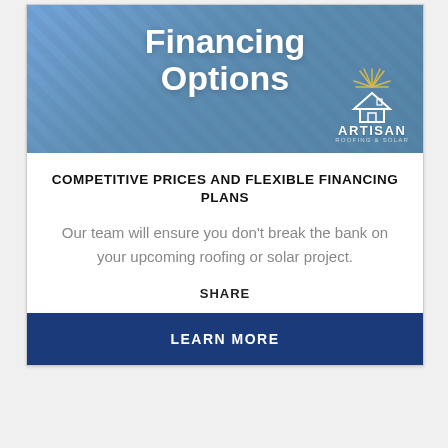[Figure (photo): Banner image with blue overlay showing hands, with bold white text 'Financing Options' and Artisan Roofing & Solar logo in bottom right]
COMPETITIVE PRICES AND FLEXIBLE FINANCING PLANS
Our team will ensure you don't break the bank on your upcoming roofing or solar project.
SHARE
LEARN MORE